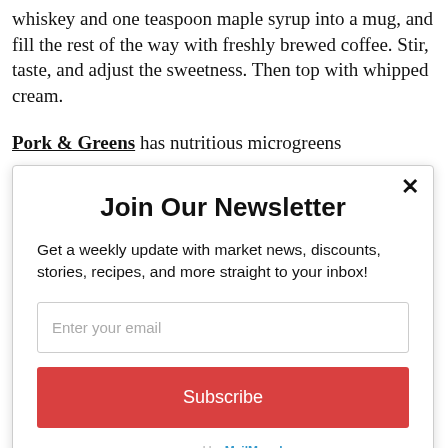whiskey and one teaspoon maple syrup into a mug, and fill the rest of the way with freshly brewed coffee. Stir, taste, and adjust the sweetness. Then top with whipped cream.
Pork & Greens has nutritious microgreens
Join Our Newsletter
Get a weekly update with market news, discounts, stories, recipes, and more straight to your inbox!
Enter your email
Subscribe
powered by MailMunch